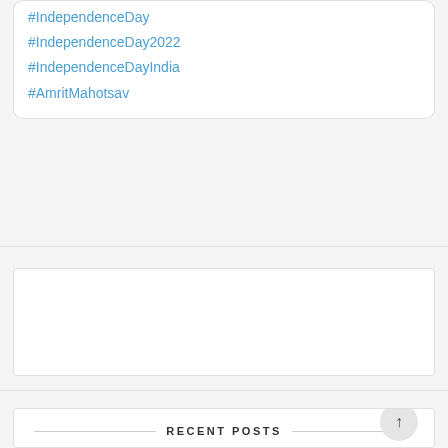#IndependenceDay
#IndependenceDay2022
#IndependenceDayIndia
#AmritMahotsav
[Figure (other): Empty white card/widget area]
RECENT POSTS
[Figure (photo): Photo of a person in red near a golden statue with decorative background]
What is better than New Years Resolutions?